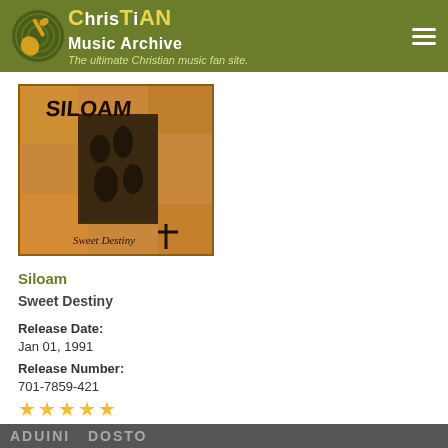Christian Music Archive - The ultimate Christian music fan site.
[Figure (photo): Album cover for Siloam - Sweet Destiny. Yellow/orange textured background with band photo in center and Siloam text at top in black.]
Siloam
Sweet Destiny
Release Date:
Jan 01, 1991
Release Number:
701-7859-421
★★★★★
ADUINI DOCO